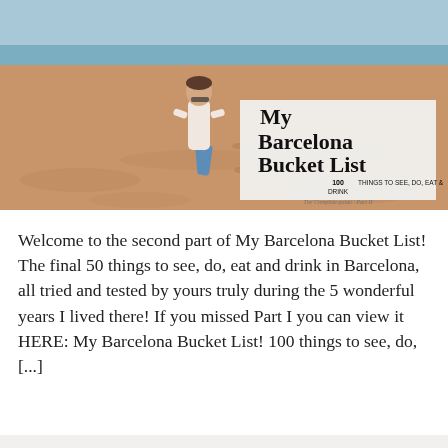[Figure (photo): Woman walking on a sandy Barcelona beach with the sea in the background. An overlay box on the right reads 'My Barcelona Bucket List – 100 Things to See, Do, Eat & Drink – The Complete guide · Part II'.]
Welcome to the second part of My Barcelona Bucket List! The final 50 things to see, do, eat and drink in Barcelona, all tried and tested by yours truly during the 5 wonderful years I lived there! If you missed Part I you can view it HERE: My Barcelona Bucket List! 100 things to see, do, [...]